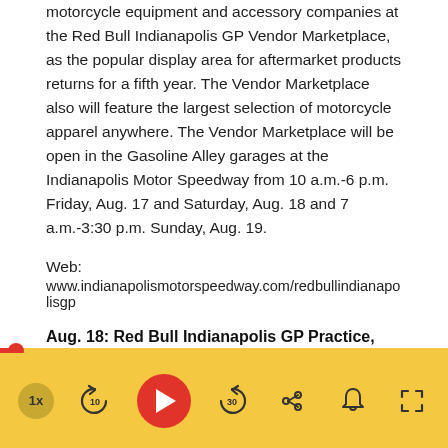motorcycle equipment and accessory companies at the Red Bull Indianapolis GP Vendor Marketplace, as the popular display area for aftermarket products returns for a fifth year. The Vendor Marketplace also will feature the largest selection of motorcycle apparel anywhere. The Vendor Marketplace will be open in the Gasoline Alley garages at the Indianapolis Motor Speedway from 10 a.m.-6 p.m. Friday, Aug. 17 and Saturday, Aug. 18 and 7 a.m.-3:30 p.m. Sunday, Aug. 19.
Web:
www.indianapolismotorspeedway.com/redbullindianapolisgp
Aug. 18: Red Bull Indianapolis GP Practice, Qualifying:
[Figure (other): Audio/podcast player bar with progress track, playback speed button (1x), skip back 10s, play button (red circle with triangle), skip forward 30s, share icon, notification bell icon, and fullscreen icon on a yellow/gold background.]